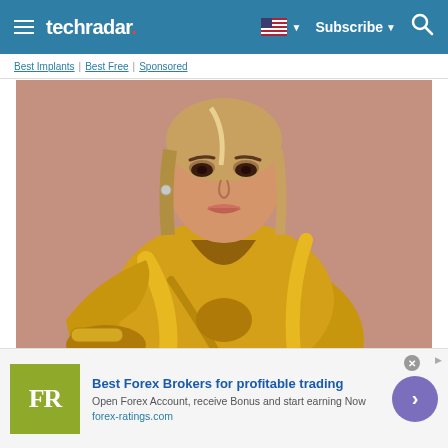techradar
Best Implants | Best Free | Sponsored
[Figure (photo): Woman in gold/yellow satin blouse against a mauve/rose background, with blonde hair pulled back, looking downward to the side.]
Surprise Everyone with These Amazing
Best Forex Brokers for profitable trading
Open Forex Account, receive Bonus and start earning Now
forex-ratings.com